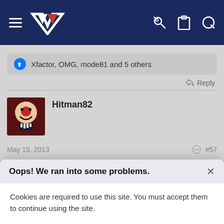[Figure (screenshot): Navigation bar with hamburger menu, NZ logo, key icon, clipboard icon, and search icon on dark navy background]
Xfactor, OMG, mode81 and 5 others
Reply
Hitman82
May 15, 2013
#57
Defence said:
Oops! We ran into some problems.
Cookies are required to use this site. You must accept them to continue using the site.